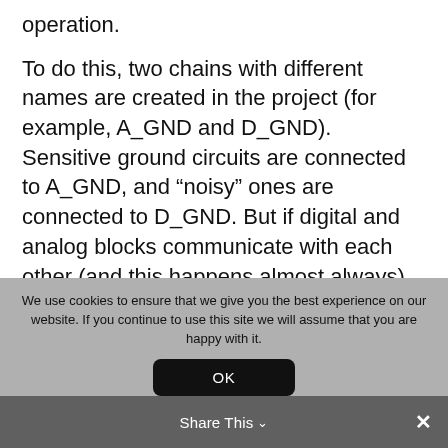operation.
To do this, two chains with different names are created in the project (for example, A_GND and D_GND). Sensitive ground circuits are connected to A_GND, and “noisy” ones are connected to D_GND. But if digital and analog blocks communicate with each other (and this happens almost always), you need to connect the a_gnd and D_GND circuits to each other (otherwise, there will be no place for return currents to flow).
We use cookies to ensure that we give you the best experience on our website. If you continue to use this site we will assume that you are happy with it.
OK
Share This ∨
×